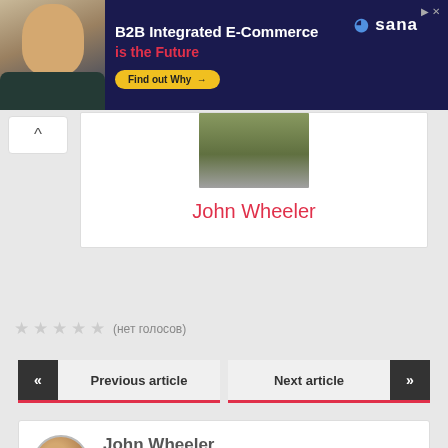[Figure (other): Advertisement banner: B2B Integrated E-Commerce is the Future - Sana Commerce. Dark navy background with man photo on left, text and Find out Why button.]
[Figure (photo): Profile photo of John Wheeler - partial head/shoulders shot]
John Wheeler
☆☆☆☆☆ (нет голосов)
« Previous article
Next article »
[Figure (photo): Small circular avatar photo of John Wheeler]
John Wheeler
admin@moonshine-maker.com